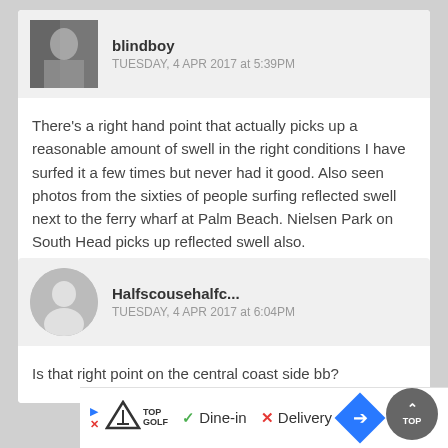[Figure (photo): User avatar photo for blindboy — small black and white photo of a person]
blindboy
TUESDAY, 4 APR 2017 at 5:39PM
There's a right hand point that actually picks up a reasonable amount of swell in the right conditions I have surfed it a few times but never had it good. Also seen photos from the sixties of people surfing reflected swell next to the ferry wharf at Palm Beach. Nielsen Park on South Head picks up reflected swell also.
[Figure (illustration): Generic silhouette user avatar icon for Halfscousehalfc...]
Halfscousehalfc...
TUESDAY, 4 APR 2017 at 6:04PM
Is that right point on the central coast side bb?
[Figure (logo): TopGolf logo with play and close buttons, Dine-in checkmark and Delivery X, navigation diamond arrow, and TOP scroll button]